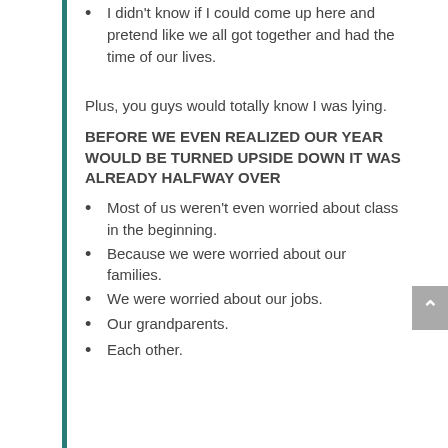I didn't know if I could come up here and pretend like we all got together and had the time of our lives.
Plus, you guys would totally know I was lying.
BEFORE WE EVEN REALIZED OUR YEAR WOULD BE TURNED UPSIDE DOWN IT WAS ALREADY HALFWAY OVER
Most of us weren't even worried about class in the beginning.
Because we were worried about our families.
We were worried about our jobs.
Our grandparents.
Each other.